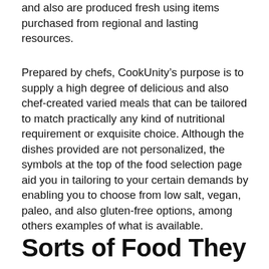and also are produced fresh using items purchased from regional and lasting resources.
Prepared by chefs, CookUnity’s purpose is to supply a high degree of delicious and also chef-created varied meals that can be tailored to match practically any kind of nutritional requirement or exquisite choice. Although the dishes provided are not personalized, the symbols at the top of the food selection page aid you in tailoring to your certain demands by enabling you to choose from low salt, vegan, paleo, and also gluten-free options, among others examples of what is available.
Sorts of Food They